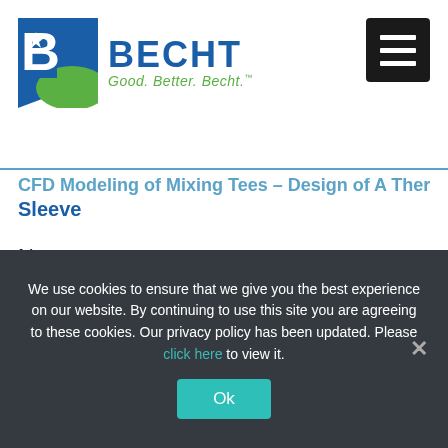[Figure (logo): Becht logo with blue B and green swoosh, 'BECHT' in blue, 'Good. Better. Becht.' in green]
[Figure (other): Black hamburger menu button in top right corner with three white horizontal bars]
CFD Modeling of Mixing Tees – Design of a Thermal Sleeve
News
We use cookies to ensure that we give you the best experience on our website. By continuing to use this site you are agreeing to these cookies. Our privacy policy has been updated. Please click here to view it.
Ok